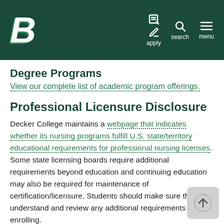Binghamton University — apply, search, menu navigation
Degree Programs
View our complete list of academic program offerings.
Professional Licensure Disclosure
Decker College maintains a webpage that indicates whether its nursing programs fulfill U.S. state/territory educational requirements for professional nursing licenses. Some state licensing boards require additional requirements beyond education and continuing education may also be required for maintenance of certification/licensure. Students should make sure they understand and review any additional requirements prior to enrolling.